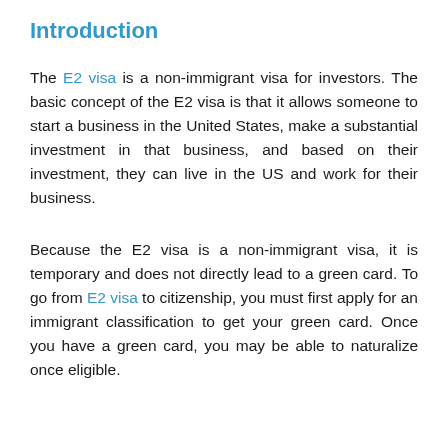Introduction
The E2 visa is a non-immigrant visa for investors. The basic concept of the E2 visa is that it allows someone to start a business in the United States, make a substantial investment in that business, and based on their investment, they can live in the US and work for their business.
Because the E2 visa is a non-immigrant visa, it is temporary and does not directly lead to a green card. To go from E2 visa to citizenship, you must first apply for an immigrant classification to get your green card. Once you have a green card, you may be able to naturalize once eligible.